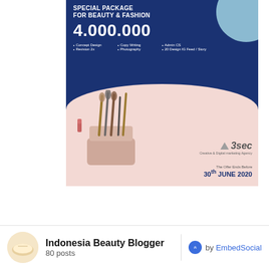[Figure (illustration): Advertisement for 3sec Creative & Digital Marketing Agency offering a Special Package for Beauty & Fashion at 4.000.000 price, listing features: Concept Design, Revision 2x, Copy Writing, Photography, Admin CS, 20 Design IG Feed/Story. Offer ends before 30th June 2020. Lower portion shows makeup brushes and cosmetics.]
Indonesia Beauty Blogger
80 posts
by EmbedSocial